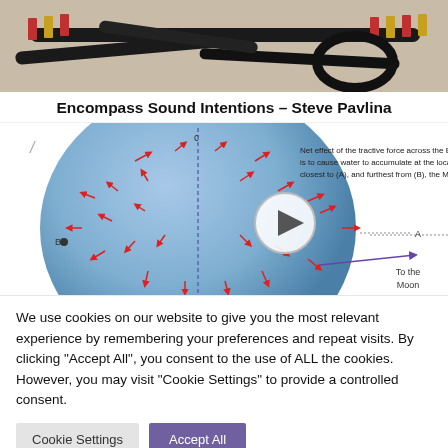[Figure (photo): Photo of audio cables and banana plug connectors on a beige/tan background]
Encompass Sound Intentions – Steve Pavlina
[Figure (illustration): Diagram of the Earth as a blue sphere with red arrows indicating tidal forces, labeled C at top, B at left, A at right. Text reads: Net effect of the tractive force across the Earth is to cause water to accumulate at the locations closest to (A), and furthest from (B), the Moon. A purple arrow points right labeled 'To the Moon'.]
We use cookies on our website to give you the most relevant experience by remembering your preferences and repeat visits. By clicking "Accept All", you consent to the use of ALL the cookies. However, you may visit "Cookie Settings" to provide a controlled consent.
Cookie Settings
Accept All